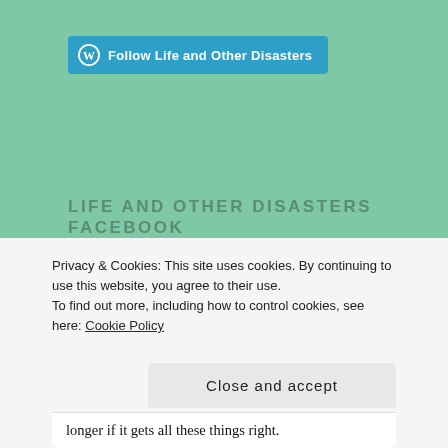[Figure (logo): WordPress Follow button widget with WordPress logo and text 'Follow Life and Other Disasters' in a teal/blue rounded button]
LIFE AND OTHER DISASTERS FACEBOOK PAGE
GOODREADS – READ
[Figure (infographic): Book card widget showing 'Time Is a Mother' by Ocean Vuong with book cover thumbnail]
Privacy & Cookies: This site uses cookies. By continuing to use this website, you agree to their use.
To find out more, including how to control cookies, see here: Cookie Policy
Close and accept
longer if it gets all these things right.